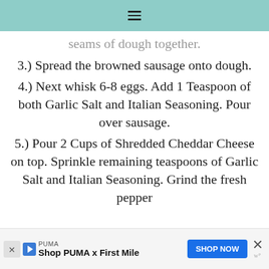seams of dough together.
3.) Spread the browned sausage onto dough.
4.) Next whisk 6-8 eggs. Add 1 Teaspoon of both Garlic Salt and Italian Seasoning. Pour over sausage.
5.) Pour 2 Cups of Shredded Cheddar Cheese on top. Sprinkle remaining teaspoons of Garlic Salt and Italian Seasoning. Grind the fresh pepper
PUMA Shop PUMA x First Mile SHOP NOW